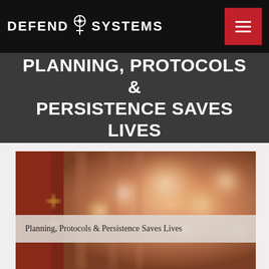DEFEND SYSTEMS
PLANNING, PROTOCOLS & PERSISTENCE SAVES LIVES
[Figure (photo): Blurred photo of a building corridor/hallway with a fire door handle in the foreground on the left side, warm bokeh lights in the background]
Planning, Protocols & Persistence Saves Lives